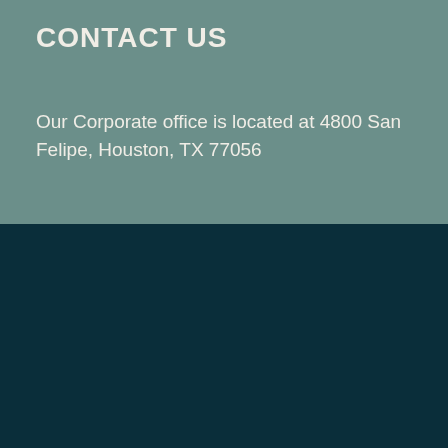CONTACT US
Our Corporate office is located at 4800 San Felipe, Houston, TX 77056
[Figure (logo): United Salt Corporation (USC) circular logo with text EST° 1928 and UNITED SALT below]